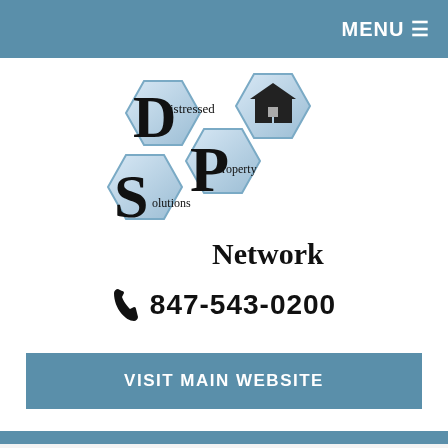MENU ☰
[Figure (logo): Distressed Property Solutions Network logo — three hexagons arranged in a triangle pattern showing letters D, P, S with 'istressed', 'roperty', 'olutions' text inside, plus a house icon hexagon, and 'Network' text below]
847-543-0200
VISIT MAIN WEBSITE
Loan Modification in Darien